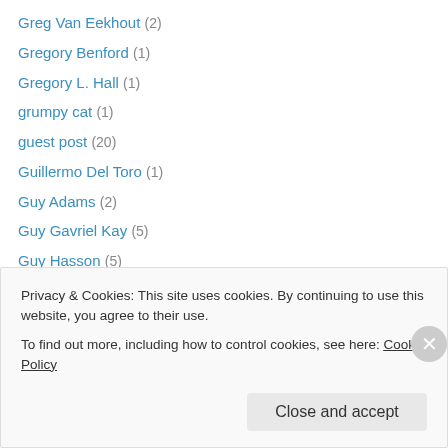Greg Van Eekhout (2)
Gregory Benford (1)
Gregory L. Hall (1)
grumpy cat (1)
guest post (20)
Guillermo Del Toro (1)
Guy Adams (2)
Guy Gavriel Kay (5)
Guy Hasson (5)
Gwyneth Jones (1)
H. Beam Piper (3)
H.F. Arnold (1)
H.G. Parry (1)
Privacy & Cookies: This site uses cookies. By continuing to use this website, you agree to their use. To find out more, including how to control cookies, see here: Cookie Policy
Close and accept